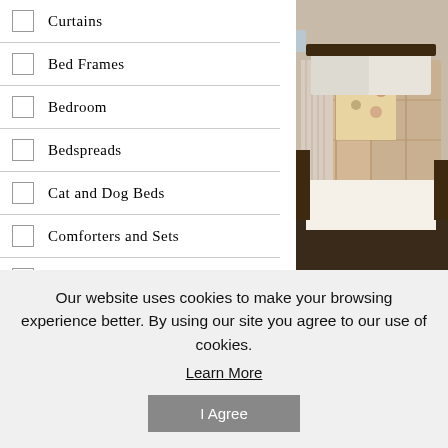Curtains
Bed Frames
Bedroom
Bedspreads
Cat and Dog Beds
Comforters and Sets
Headboards
Kids Bedroom
Mattress Toppers
[Figure (photo): Bedroom scene showing a bed with quilted floral bedspreads and comforter in earthy tones, dark wood nightstand and dark hardwood floor.]
A collage of updated floral and fou season. Quilted in a stylized ver...
Our website uses cookies to make your browsing experience better. By using our site you agree to our use of cookies.
Learn More
I Agree